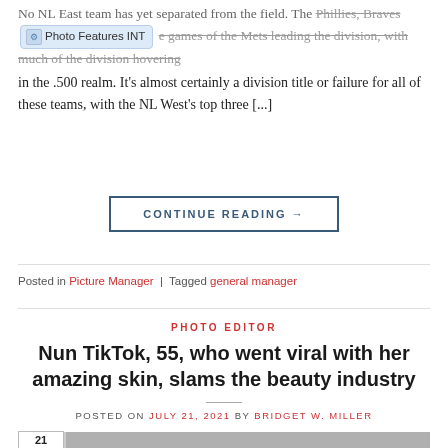No NL East team has yet separated from the field. The Phillies, Braves [Photo Features INT tooltip] e games of the Mets leading the division, with much of the division hovering in the .500 realm. It’s almost certainly a division title or failure for all of these teams, with the NL West’s top three […]
CONTINUE READING →
Posted in Picture Manager | Tagged general manager
PHOTO EDITOR
Nun TikTok, 55, who went viral with her amazing skin, slams the beauty industry
POSTED ON JULY 21, 2021 BY BRIDGET W. MILLER
[Figure (photo): Bottom portion of a news article page showing a photo strip with number 21 and a partially visible photograph]